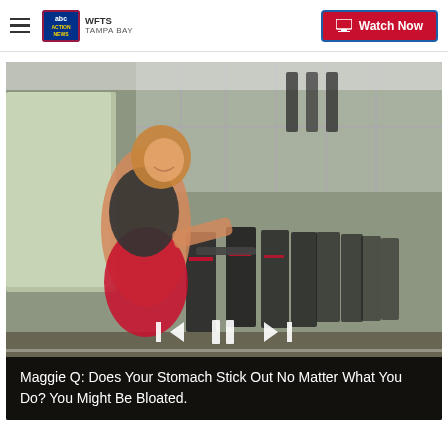ABC Action News WFTS Tampa Bay — Watch Now
[Figure (screenshot): Video player screenshot showing a woman in fitness attire posing on a stationary spin bike in a gym with large windows and rows of bikes. Video playback controls (skip back, pause, skip forward) visible at bottom center.]
Maggie Q: Does Your Stomach Stick Out No Matter What You Do? You Might Be Bloated.